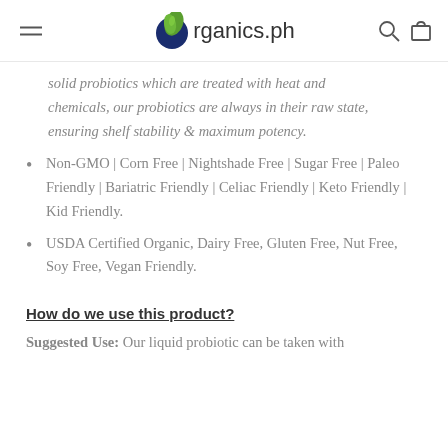organics.ph
solid probiotics which are treated with heat and chemicals, our probiotics are always in their raw state, ensuring shelf stability & maximum potency.
Non-GMO | Corn Free | Nightshade Free | Sugar Free | Paleo Friendly | Bariatric Friendly | Celiac Friendly | Keto Friendly | Kid Friendly.
USDA Certified Organic, Dairy Free, Gluten Free, Nut Free, Soy Free, Vegan Friendly.
How do we use this product?
Suggested Use: Our liquid probiotic can be taken with